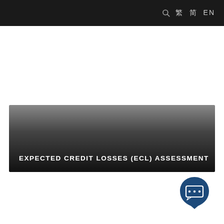繁 简 EN
[Figure (illustration): Hero banner with gradient from grey to black containing the title text 'EXPECTED CREDIT LOSSES (ECL) ASSESSMENT']
EXPECTED CREDIT LOSSES (ECL) ASSESSMENT
[Figure (illustration): Chat/messaging icon in dark blue teardrop shape with ellipsis speech bubble symbol]